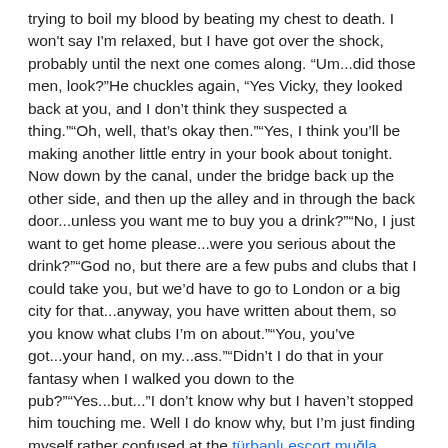trying to boil my blood by beating my chest to death. I won't say I'm relaxed, but I have got over the shock, probably until the next one comes along. “Um...did those men, look?”He chuckles again, “Yes Vicky, they looked back at you, and I don’t think they suspected a thing.””Oh, well, that’s okay then.””Yes, I think you’ll be making another little entry in your book about tonight. Now down by the canal, under the bridge back up the other side, and then up the alley and in through the back door...unless you want me to buy you a drink?””No, I just want to get home please...were you serious about the drink?””God no, but there are a few pubs and clubs that I could take you, but we’d have to go to London or a big city for that...anyway, you have written about them, so you know what clubs I’m on about.””You, you’ve got...your hand, on my...ass.””Didn’t I do that in your fantasy when I walked you down to the pub?””Yes...but...”I don’t know why but I haven’t stopped him touching me. Well I do know why, but I’m just finding myself rather confused at the türbanlı escort muğla moment. The last hour has been like a nightmare, or rather, like my dreams. Being dressed as a girl does come into my dreams when I’m a sleep sometimes. Sometimes I’m at work, wearing a skirt, serving customers and I know I’ve been seen, but the way